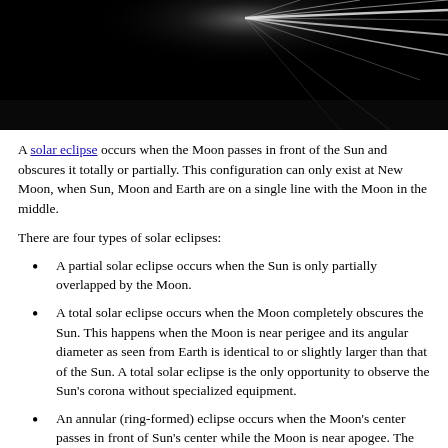[Figure (photo): Dark image of a solar eclipse showing light rays emanating from behind a dark object against a black background]
A solar eclipse occurs when the Moon passes in front of the Sun and obscures it totally or partially. This configuration can only exist at New Moon, when Sun, Moon and Earth are on a single line with the Moon in the middle.
There are four types of solar eclipses:
A partial solar eclipse occurs when the Sun is only partially overlapped by the Moon.
A total solar eclipse occurs when the Moon completely obscures the Sun. This happens when the Moon is near perigee and its angular diameter as seen from Earth is identical to or slightly larger than that of the Sun. A total solar eclipse is the only opportunity to observe the Sun's corona without specialized equipment.
An annular (ring-formed) eclipse occurs when the Moon's center passes in front of Sun's center while the Moon is near apogee. The Moon's angular diameter is then smaller than that of the Sun, so the tip of its shadow still b...